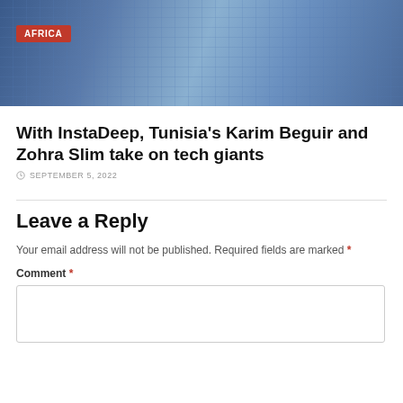[Figure (photo): Hero image showing a laptop keyboard with a blue tech/network overlay background. An 'AFRICA' badge in red is overlaid on the lower-left of the image.]
With InstaDeep, Tunisia's Karim Beguir and Zohra Slim take on tech giants
SEPTEMBER 5, 2022
Leave a Reply
Your email address will not be published. Required fields are marked *
Comment *